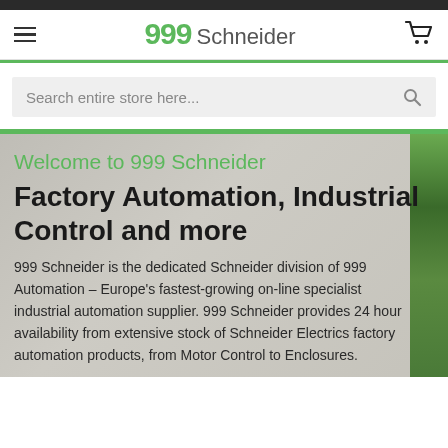999 Schneider
Search entire store here...
Welcome to 999 Schneider
Factory Automation, Industrial Control and more
999 Schneider is the dedicated Schneider division of 999 Automation – Europe's fastest-growing on-line specialist industrial automation supplier. 999 Schneider provides 24 hour availability from extensive stock of Schneider Electrics factory automation products, from Motor Control to Enclosures.